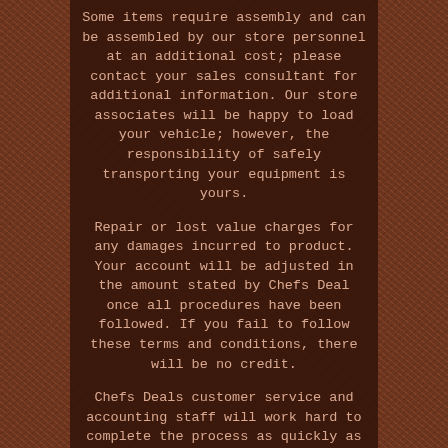Some items require assembly and can be assembled by our store personnel at an additional cost; please contact your sales consultant for additional information. Our store associates will be happy to load your vehicle; however, the responsibility of safely transporting your equipment is yours.
Repair or lost value charges for any damages incurred to product. Your account will be adjusted in the amount stated by Chefs Deal once all procedures have been followed. If you fail to follow these terms and conditions, there will be no credit.
Chefs Deals customer service and accounting staff will work hard to complete the process as quickly as possible. Warranties and Condition of Merchandise.
While we stand behind the accuracy of our listing, there may be some small details that are not included in product descriptions; there is no